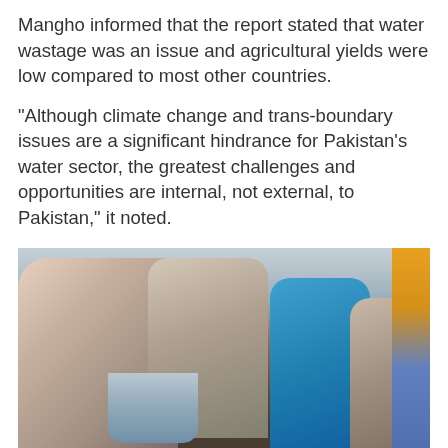Mangho informed that the report stated that water wastage was an issue and agricultural yields were low compared to most other countries.
"Although climate change and trans-boundary issues are a significant hindrance for Pakistan's water sector, the greatest challenges and opportunities are internal, not external, to Pakistan," it noted.
[Figure (photo): People collecting water from a bucket in what appears to be a Pakistani urban setting. A woman in a headscarf pours water from a large container into a clay pot while several others help or observe. The background shows buildings and a utility pole.]